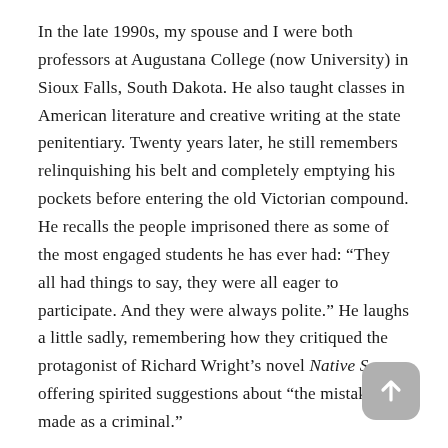In the late 1990s, my spouse and I were both professors at Augustana College (now University) in Sioux Falls, South Dakota. He also taught classes in American literature and creative writing at the state penitentiary. Twenty years later, he still remembers relinquishing his belt and completely emptying his pockets before entering the old Victorian compound. He recalls the people imprisoned there as some of the most engaged students he has ever had: “They all had things to say, they were all eager to participate. And they were always polite.” He laughs a little sadly, remembering how they critiqued the protagonist of Richard Wright’s novel Native Son, offering spirited suggestions about “the mistakes he made as a criminal.”